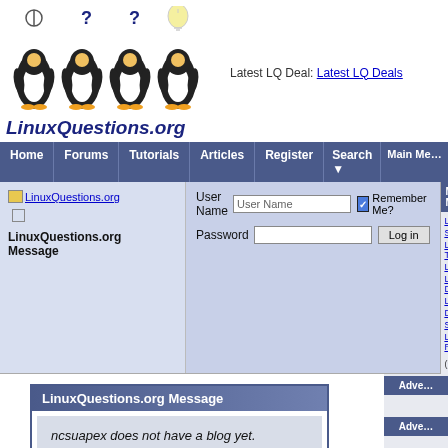[Figure (logo): LinuxQuestions.org logo with four penguins and site name]
Latest LQ Deal: Latest LQ Deals
Home | Forums | Tutorials | Articles | Register | Search | Main Me...
LinuxQuestions.org
LinuxQuestions.org Message
User Name  [User Name]  ☑ Remember Me?  Password  [        ]  [Log in]
LinuxQuestions.org Message
ncsuapex does not have a blog yet.
Main Me...
Adve...
Adve...
My LQ
Logi...
Regi...